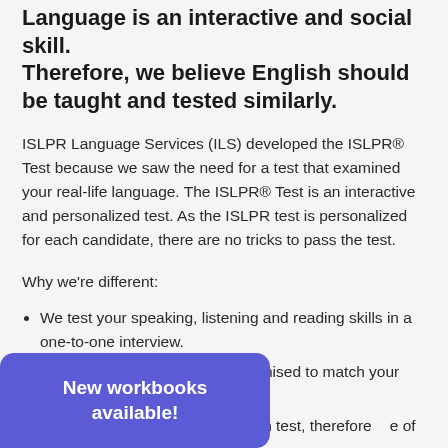Language is an interactive and social skill. Therefore, we believe English should be taught and tested similarly.
ISLPR Language Services (ILS) developed the ISLPR® Test because we saw the need for a test that examined your real-life language. The ISLPR® Test is an interactive and personalized test. As the ISLPR test is personalized for each candidate, there are no tricks to pass the test.
Why we're different:
We test your speaking, listening and reading skills in a one-to-one interview.
The content of your test is customised to match your area of expertise.
The ISLPR is the shortest English test, therefore [reducing chance] of fatigue.
[English tutorials] with
New workbooks available!